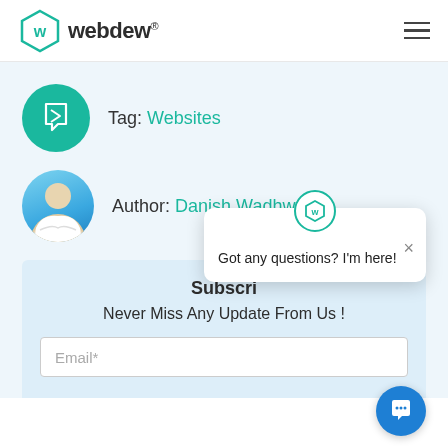webdew®
[Figure (logo): webdew logo with hexagon icon]
Tag: Websites
Author: Danish Wadhwa
Subscri... Never Miss Any Update From Us !
Email*
Got any questions? I'm here!